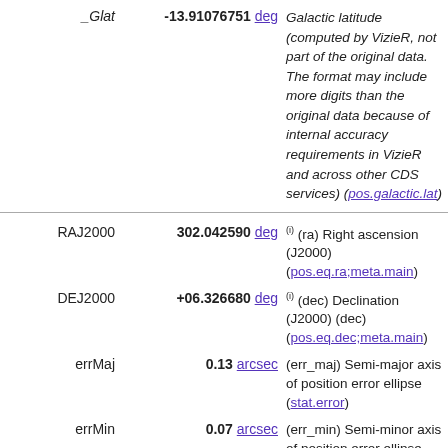_Glat   -13.91076751 deg   Galactic latitude (computed by VizieR, not part of the original data. The format may include more digits than the original data because of internal accuracy requirements in VizieR and across other CDS services) (pos.galactic.lat)
RAJ2000   302.042590 deg   (i) (ra) Right ascension (J2000) (pos.eq.ra;meta.main)
DEJ2000   +06.326680 deg   (i) (dec) Declination (J2000) (dec) (pos.eq.dec;meta.main)
errMaj   0.13 arcsec   (err_maj) Semi-major axis of position error ellipse (stat.error)
errMin   0.07 arcsec   (err_min) Semi-minor axis of position error ellipse (stat.error)
errPA   1 deg   [0,180] (err_ang) Position angle of error ellipse major axis (E of N) (stat.error)